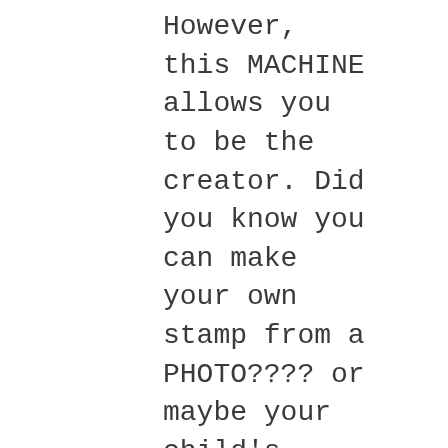However, this MACHINE allows you to be the creator. Did you know you can make your own stamp from a PHOTO???? or maybe your child's handwriting? It's up to YOU what you want to create. LIMITLESS CREATIVITY-